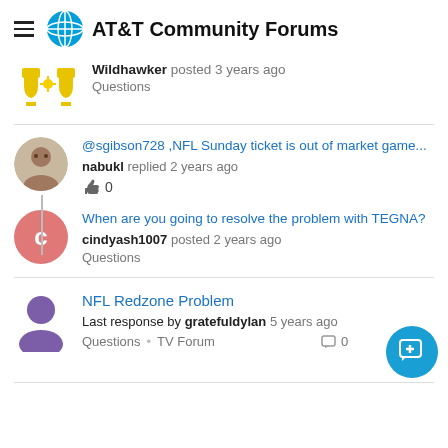AT&T Community Forums
Wildhawker posted 3 years ago
Questions
@sgibson728 ,NFL Sunday ticket is out of market game...
nabukl replied 2 years ago
👍 0
When are you going to resolve the problem with TEGNA?
cindyash1007 posted 2 years ago
Questions
NFL Redzone Problem
Last response by gratefuldylan 5 years ago
Questions • TV Forum